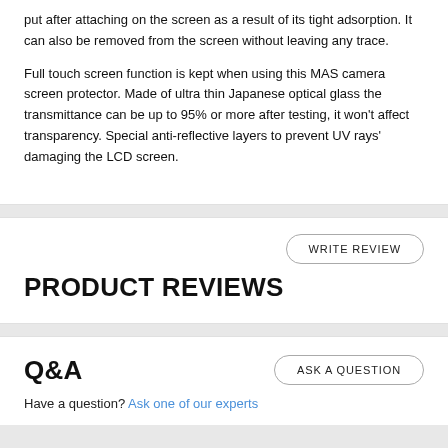put after attaching on the screen as a result of its tight adsorption. It can also be removed from the screen without leaving any trace.
Full touch screen function is kept when using this MAS camera screen protector. Made of ultra thin Japanese optical glass the transmittance can be up to 95% or more after testing, it won’t affect transparency. Special anti-reflective layers to prevent UV rays’ damaging the LCD screen.
PRODUCT REVIEWS
Q&A
Have a question? Ask one of our experts